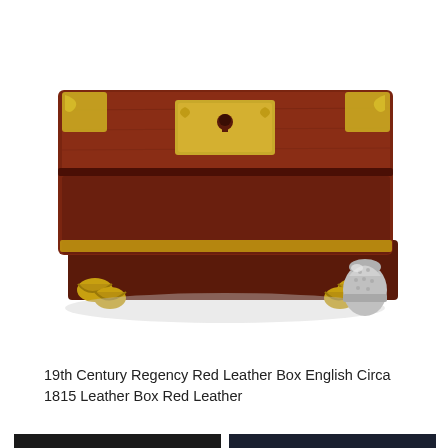[Figure (photo): Antique 19th Century Regency red leather box with brass/gilt ornamental feet and keyhole plate, photographed with a silver thimble for scale. Box is dark reddish-brown leather with decorative brass corner and center fittings.]
19th Century Regency Red Leather Box English Circa 1815 Leather Box Red Leather
[Figure (photo): Close-up photo of a pair of gold-toned hoop earrings with dangling colorful beads including pink, orange, white/mint, and purple/crystal beads, displayed on a dark stone surface.]
[Figure (photo): Close-up photo of the same pair of gold hoop earrings with colorful beads (pink, orange, mint green, purple) displayed on a dark surface with 'Petite Bl...' text overlay in teal/turquoise cursive lettering.]